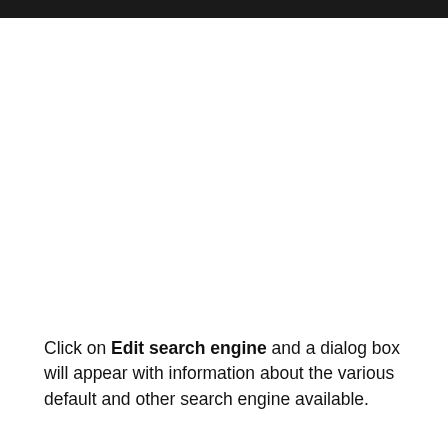Click on Edit search engine and a dialog box will appear with information about the various default and other search engine available.